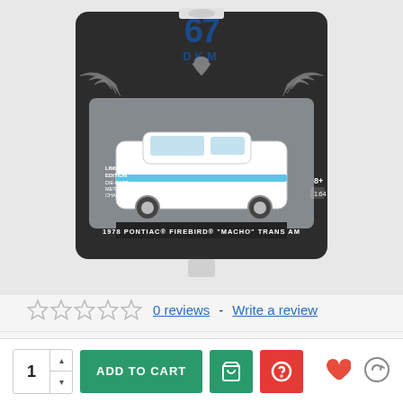[Figure (photo): Product photo of a Greenlight DKM 1:64 scale die-cast model car in blister pack. The packaging shows a Firebird/Trans Am logo (phoenix bird) with '67' and 'DKM' text. The model inside is a white 1978 Pontiac Firebird 'Macho' Trans Am with blue stripes. The package label reads '1978 PONTIAC FIREBIRD MACHO TRANS AM'. LIMITED EDITION DIE-CAST METAL CHASSIS text visible on left side. Age rating 8+ and 1:64 scale shown on right.]
0 reviews  -  Write a review
IN STOCK